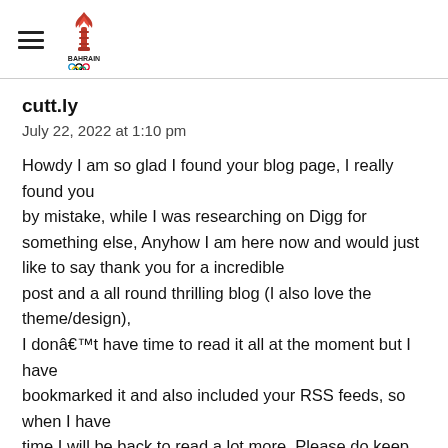Bahrain Olympic Committee logo with hamburger menu
cutt.ly
July 22, 2022 at 1:10 pm
Howdy I am so glad I found your blog page, I really found you by mistake, while I was researching on Digg for something else, Anyhow I am here now and would just like to say thank you for a incredible post and a all round thrilling blog (I also love the theme/design), I donâ€™t have time to read it all at the moment but I have bookmarked it and also included your RSS feeds, so when I have time I will be back to read a lot more, Please do keep up the superb jo